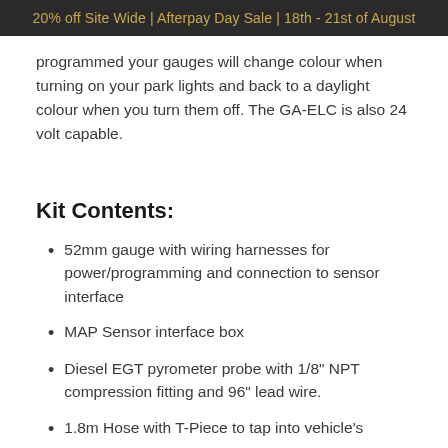20% off Site Wide | Afterpay Day Sale | 18th - 21st of August
programmed your gauges will change colour when turning on your park lights and back to a daylight colour when you turn them off. The GA-ELC is also 24 volt capable.
Kit Contents:
52mm gauge with wiring harnesses for power/programming and connection to sensor interface
MAP Sensor interface box
Diesel EGT pyrometer probe with 1/8" NPT compression fitting and 96" lead wire.
1.8m Hose with T-Piece to tap into vehicle's